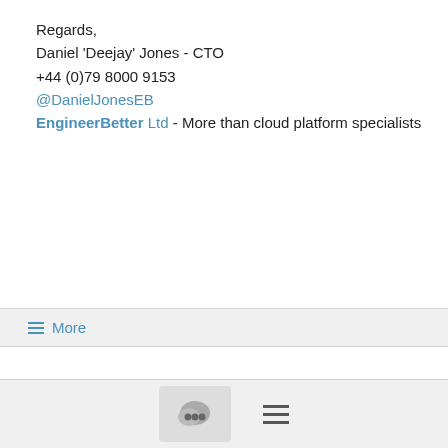Regards,
Daniel 'Deejay' Jones - CTO
+44 (0)79 8000 9153
@DanielJonesEB
EngineerBetter Ltd - More than cloud platform specialists
Show quoted text
≡ More
41 - 60 of 2757
[Figure (screenshot): Pagination control showing pages: back arrow, 1, 2, 3 (active/bold), 4, 5, 6, 7, 8 on first row; 9 and forward arrow on second row]
[Figure (screenshot): Bottom navigation bar with a chat bubble icon button and a hamburger menu icon]